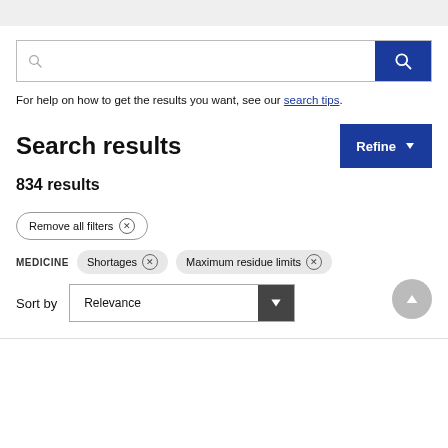[Figure (screenshot): Search bar with text input area and blue search button with magnifying glass icon]
For help on how to get the results you want, see our search tips.
Search results
834 results
Remove all filters ⊗
MEDICINE   Shortages ⊗   Maximum residue limits ⊗
Sort by   Relevance ∨